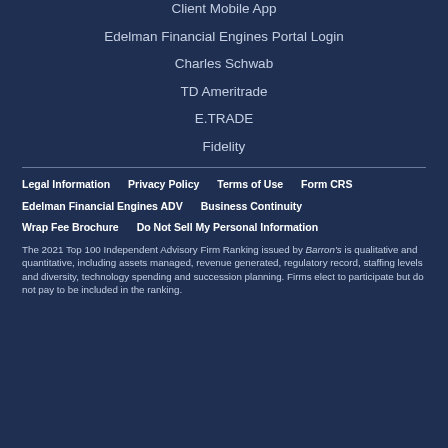Client Mobile App
Edelman Financial Engines Portal Login
Charles Schwab
TD Ameritrade
E.TRADE
Fidelity
Legal Information
Privacy Policy
Terms of Use
Form CRS
Edelman Financial Engines ADV
Business Continuity
Wrap Fee Brochure
Do Not Sell My Personal Information
The 2021 Top 100 Independent Advisory Firm Ranking issued by Barron's is qualitative and quantitative, including assets managed, revenue generated, regulatory record, staffing levels and diversity, technology spending and succession planning. Firms elect to participate but do not pay to be included in the ranking.